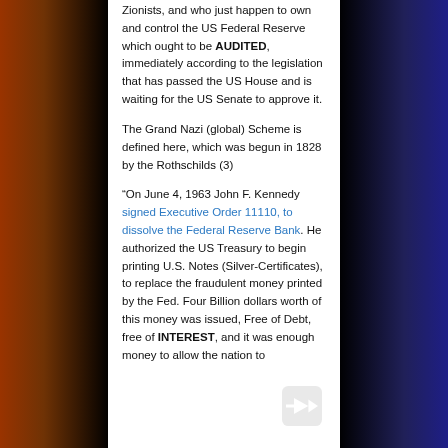Zionists, and who just happen to own and control the US Federal Reserve which ought to be AUDITED, immediately according to the legislation that has passed the US House and is waiting for the US Senate to approve it.
The Grand Nazi (global) Scheme is defined here, which was begun in 1828 by the Rothschilds (3)
“On June 4, 1963 John F. Kennedy signed Executive Order 11110, to dissolve the Federal Reserve Bank. He authorized the US Treasury to begin printing U.S. Notes (Silver-Certificates), to replace the fraudulent money printed by the Fed. Four Billion dollars worth of this money was issued, Free of Debt, free of INTEREST, and it was enough money to allow the nation to